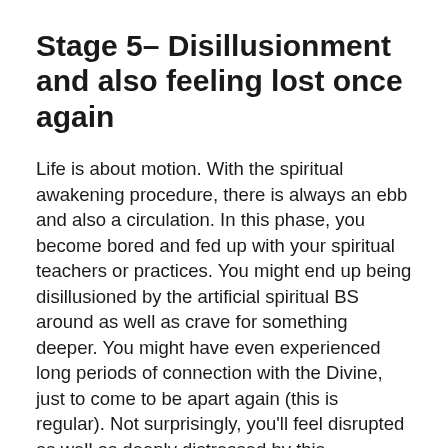Stage 5– Disillusionment and also feeling lost once again
Life is about motion. With the spiritual awakening procedure, there is always an ebb and also a circulation. In this phase, you become bored and fed up with your spiritual teachers or practices. You might end up being disillusioned by the artificial spiritual BS around as well as crave for something deeper. You might have even experienced long periods of connection with the Divine, just to come to be apart again (this is regular). Not surprisingly, you'll feel disrupted as well as deeply distressed by this experience. Furthermore, while you may have experienced several mental/emotional/spiritual developments